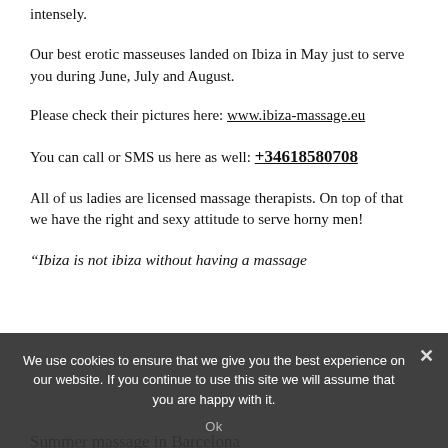intensely.
Our best erotic masseuses landed on Ibiza in May just to serve you during June, July and August.
Please check their pictures here: www.ibiza-massage.eu
You can call or SMS us here as well: +34618580708
All of us ladies are licensed massage therapists. On top of that we have the right and sexy attitude to serve horny men!
“Ibiza is not ibiza without having a massage
Summer massage in Barcelona
We use cookies to ensure that we give you the best experience on our website. If you continue to use this site we will assume that you are happy with it.
Ok